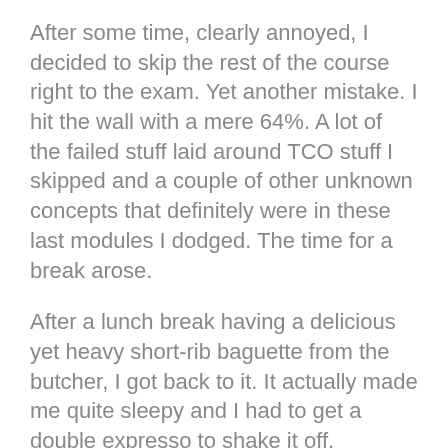After some time, clearly annoyed, I decided to skip the rest of the course right to the exam. Yet another mistake. I hit the wall with a mere 64%. A lot of the failed stuff laid around TCO stuff I skipped and a couple of other unknown concepts that definitely were in these last modules I dodged. The time for a break arose.
After a lunch break having a delicious yet heavy short-rib baguette from the butcher, I got back to it. It actually made me quite sleepy and I had to get a double expresso to shake it off. Following my new awakening, I went back to the modules I skipped from the passive TCO example. I thought I might as well go through it as the active example can't be used. After that, I landed again in the (inter)active example once more. This is when it hit me. The UI issues were CSS.
From there, I could guess that the input “hitboxes”